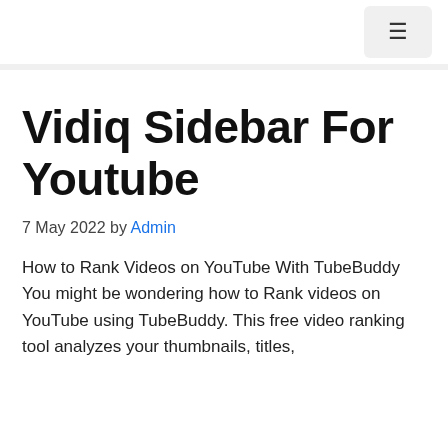≡
Vidiq Sidebar For Youtube
7 May 2022 by Admin
How to Rank Videos on YouTube With TubeBuddy
You might be wondering how to Rank videos on YouTube using TubeBuddy. This free video ranking tool analyzes your thumbnails, titles,